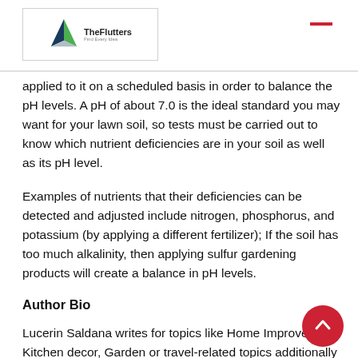TheFlutters
applied to it on a scheduled basis in order to balance the pH levels. A pH of about 7.0 is the ideal standard you may want for your lawn soil, so tests must be carried out to know which nutrient deficiencies are in your soil as well as its pH level.
Examples of nutrients that their deficiencies can be detected and adjusted include nitrogen, phosphorus, and potassium (by applying a different fertilizer); If the soil has too much alkalinity, then applying sulfur gardening products will create a balance in pH levels.
Author Bio
Lucerin Saldana writes for topics like Home Improvement, Kitchen decor, Garden or travel-related topics additionally he has a passion for the metal building industry for more than years, Lucerin Saldana has become an experienced building